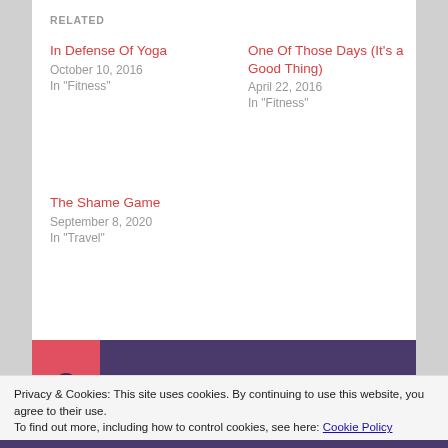RELATED
In Defense Of Yoga
October 10, 2016
In "Fitness"
One Of Those Days (It's a Good Thing)
April 22, 2016
In "Fitness"
The Shame Game
September 8, 2020
In "Travel"
[Figure (other): Author profile section with person icon, red and purple background, username jennifergalardi]
Privacy & Cookies: This site uses cookies. By continuing to use this website, you agree to their use.
To find out more, including how to control cookies, see here: Cookie Policy
Close and accept